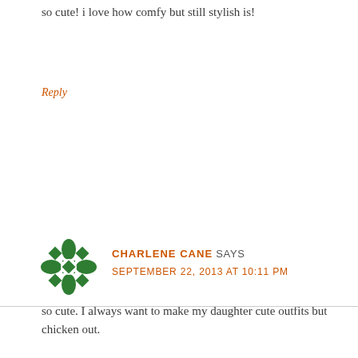so cute! i love how comfy but still stylish is!
Reply
[Figure (illustration): Green decorative snowflake/cross avatar icon for commenter Charlene Cane]
CHARLENE CANE SAYS
SEPTEMBER 22, 2013 AT 10:11 PM
so cute. I always want to make my daughter cute outfits but chicken out.
Reply